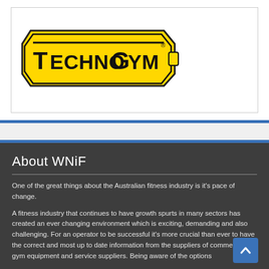[Figure (logo): TechnoGym logo — yellow badge shape with black bold text TECHNOGYM and registered trademark symbol]
About WNiF
One of the great things about the Australian fitness industry is it's pace of change.
A fitness industry that continues to have growth spurts in many sectors has created an ever changing environment which is exciting, demanding and also challenging. For an operator to be successful it's more crucial than ever to have the correct and most up to date information from the suppliers of commercial gym equipment and service suppliers. Being aware of the options